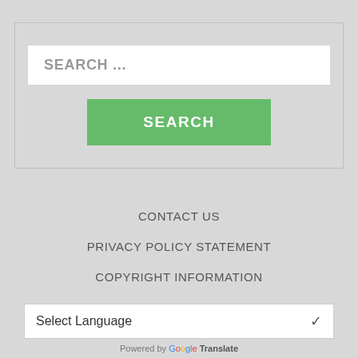SEARCH ...
SEARCH
CONTACT US
PRIVACY POLICY STATEMENT
COPYRIGHT INFORMATION
Select Language
Powered by Google Translate